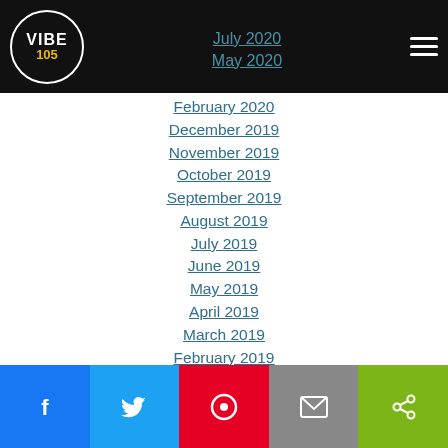Vibe 105 — July 2020, May 2020
February 2020
December 2019
November 2019
October 2019
September 2019
August 2019
July 2019
June 2019
May 2019
April 2019
March 2019
February 2019
January 2019
December 2018
Facebook, Twitter, Pinterest, Email, Share